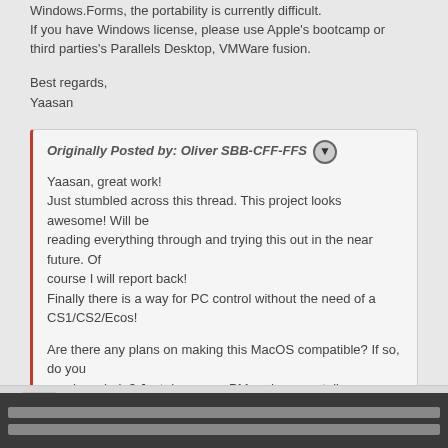Windows.Forms, the portability is currently difficult.
If you have Windows license, please use Apple's bootcamp or third parties's Parallels Desktop, VMWare fusion.
Best regards,
Yaasan
Originally Posted by: Oliver SBB-CFF-FFS

Yaasan, great work!
Just stumbled across this thread. This project looks awesome! Will be reading everything through and trying this out in the near future. Of course I will report back!
Finally there is a way for PC control without the need of a CS1/CS2/Ecos!

Are there any plans on making this MacOS compatible? If so, do you need any help? Just drop me a PM and we can talk.

Regards,
Oliver
[Figure (screenshot): Action bar with an up-arrow button and WWW / BLOG link buttons at the bottom of the forum post area]